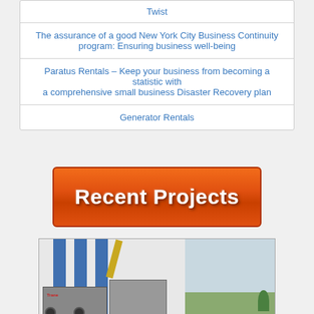Twist
The assurance of a good New York City Business Continuity program: Ensuring business well-being
Paratus Rentals – Keep your business from becoming a statistic with a comprehensive small business Disaster Recovery plan
Generator Rentals
[Figure (illustration): Orange button with white bold text reading 'Recent Projects']
[Figure (photo): Photo of industrial generator units on trailers parked near a commercial building with blue stripes, a crane arm visible, and trees in background]